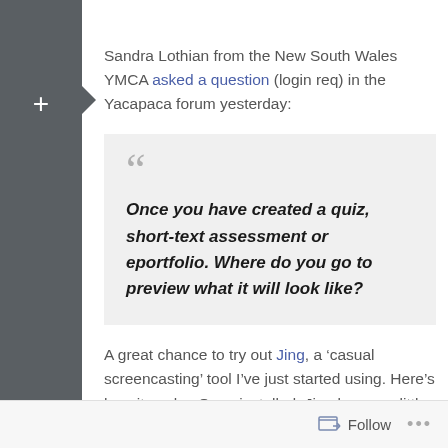Sandra Lothian from the New South Wales YMCA asked a question (login req) in the Yacapaca forum yesterday:
Once you have created a quiz, short-text assessment or eportfolio. Where do you go to preview what it will look like?
A great chance to try out Jing, a ‘casual screencasting’ tool I’ve just started using. Here’s how it works. Once installed, Jing leaves a little menu permanently on your screen. At any time you can define an area of the screen and start recording it. When done, click the
Follow …